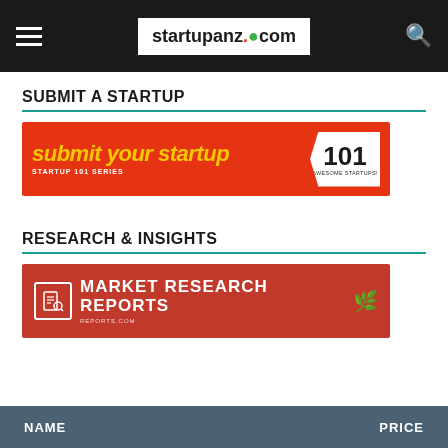startupanz.com
SUBMIT A STARTUP
[Figure (illustration): Red banner reading 'submit your startup' in yellow italic text with a white arrow badge showing '101 AWESOME STARTUPS!' and subtitle 'STARTUP 101 SERIES']
RESEARCH & INSIGHTS
[Figure (illustration): Dark red banner with document icon on left, bold white text 'MARKET RESEARCH REPORTS', and a decorative plant/cactus icon on right]
| NAME | PRICE |
| --- | --- |